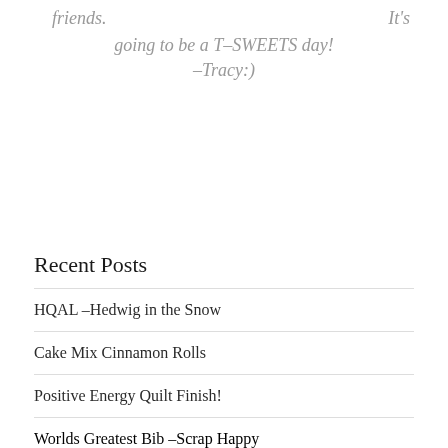friends.                                         It's
     going to be a T-SWEETS day!
              –Tracy:)
Recent Posts
HQAL –Hedwig in the Snow
Cake Mix Cinnamon Rolls
Positive Energy Quilt Finish!
Worlds Greatest Bib –Scrap Happy